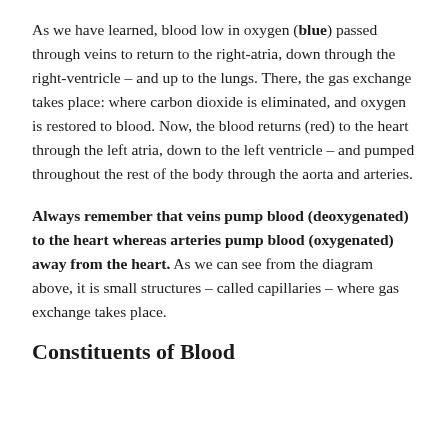As we have learned, blood low in oxygen (blue) passed through veins to return to the right-atria, down through the right-ventricle – and up to the lungs. There, the gas exchange takes place: where carbon dioxide is eliminated, and oxygen is restored to blood. Now, the blood returns (red) to the heart through the left atria, down to the left ventricle – and pumped throughout the rest of the body through the aorta and arteries.
Always remember that veins pump blood (deoxygenated) to the heart whereas arteries pump blood (oxygenated) away from the heart. As we can see from the diagram above, it is small structures – called capillaries – where gas exchange takes place.
Constituents of Blood